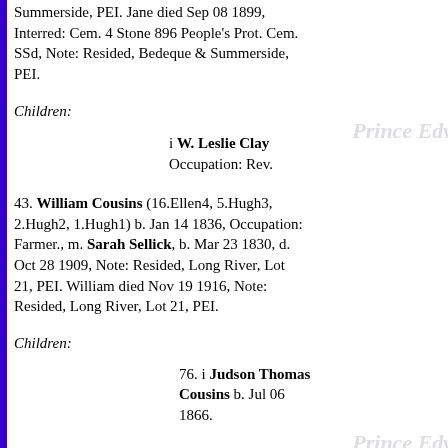Summerside, PEI. Jane died Sep 08 1899, Interred: Cem. 4 Stone 896 People's Prot. Cem. SSd, Note: Resided, Bedeque & Summerside, PEI.
Children:
i W. Leslie Clay Occupation: Rev.
43. William Cousins (16.Ellen4, 5.Hugh3, 2.Hugh2, 1.Hugh1) b. Jan 14 1836, Occupation: Farmer., m. Sarah Sellick, b. Mar 23 1830, d. Oct 28 1909, Note: Resided, Long River, Lot 21, PEI. William died Nov 19 1916, Note: Resided, Long River, Lot 21, PEI.
Children:
76. i Judson Thomas Cousins b. Jul 06 1866.
44. Margaret Montgomery (17.Donald4, 5.Hugh3, 2.Hugh2, 1.Hugh1) b. ___ 1836, New London, PEI., m. (1) ___ 1859, James A.